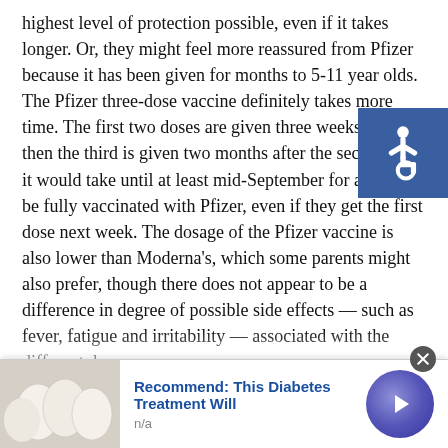highest level of protection possible, even if it takes longer. Or, they might feel more reassured from Pfizer because it has been given for months to 5-11 year olds. The Pfizer three-dose vaccine definitely takes more time. The first two doses are given three weeks apart, then the third is given two months after the second. So it would take until at least mid-September for a child to be fully vaccinated with Pfizer, even if they get the first dose next week. The dosage of the Pfizer vaccine is also lower than Moderna's, which some parents might also prefer, though there does not appear to be a difference in degree of possible side effects — such as fever, fatigue and irritability — associated with the different doses.
[Figure (other): Accessibility icon — white wheelchair symbol on a blue square background, positioned top-right]
Still other parents may just want to give their kids whatever they have access to first. I think all of these are reasonable decisions, as the CDC recommends both vaccines equally.
[Figure (other): Advertisement banner at the bottom: thumbnail image of white egg-shaped objects, bold blue text 'Recommend: This Diabetes Treatment Will', subtitle 'n/a', and a purple arrow button on the right. Close button (X) top right of banner.]